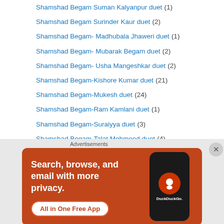Shamshad Begam Suman Kalyanpur duet (1)
Shamshad Begam Surinder Kaur duet (2)
Shamshad Begam- Madhubala Jhaweri duet (1)
Shamshad Begam- Mubarak Begam duet (2)
Shamshad Begam- Usha Mangeshkar duet (2)
Shamshad Begam-Kishore Kumar duet (21)
Shamshad Begam-Mukesh duet (24)
Shamshad Begam-Ram Kamlani duet (1)
Shamshad Begam-Suraiyya duet (3)
Shamshad Begam-Talat Mehmood duet (4)
Shamshad Begum – S Balbir Duet (1)
Shankar Dasgupta Meena Kapoor duet (2)
Shankar Dasgupta- Sandhya Mukherjee duet (1)
Shanker Mahadevan – Kavita Krishnamurthy Duet (1)
Shirin Bano – Ranjit Roy Duet (1)
[Figure (screenshot): DuckDuckGo advertisement banner: orange background with text 'Search, browse, and email with more privacy. All in One Free App' alongside a phone image with DuckDuckGo logo]